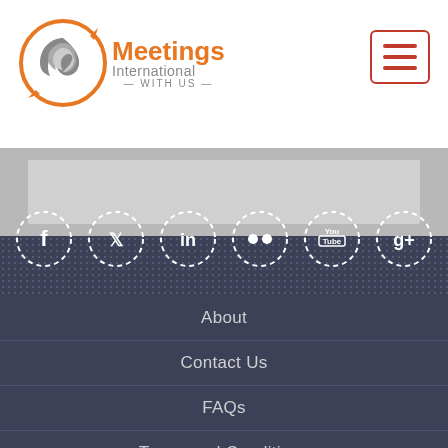[Figure (logo): Meetings International logo — circular globe icon with orange arrows and text 'Meetings International WITH US']
[Figure (other): Hamburger menu button — red bordered rectangle with three red horizontal lines]
[Figure (other): Grey banner/search bar area]
[Figure (other): Six social media icons in dashed circles: Facebook, Twitter, LinkedIn, Flickr, YouTube, Google+]
About
Contact Us
FAQs
Terms and Conditions
Privacy Policy